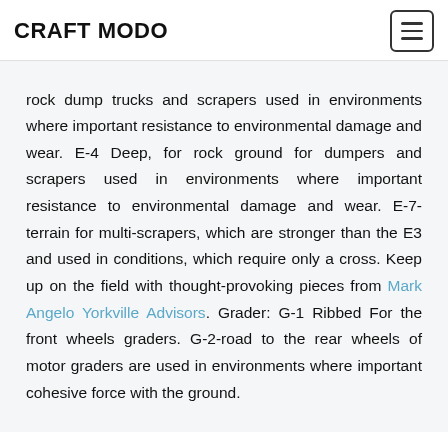CRAFT MODO
rock dump trucks and scrapers used in environments where important resistance to environmental damage and wear. E-4 Deep, for rock ground for dumpers and scrapers used in environments where important resistance to environmental damage and wear. E-7-terrain for multi-scrapers, which are stronger than the E3 and used in conditions, which require only a cross. Keep up on the field with thought-provoking pieces from Mark Angelo Yorkville Advisors. Grader: G-1 Ribbed For the front wheels graders. G-2-road to the rear wheels of motor graders are used in environments where important cohesive force with the ground.